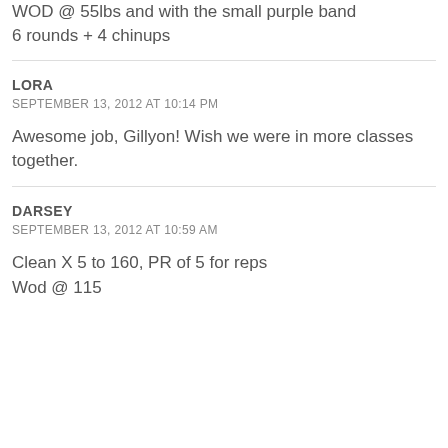WOD @ 55lbs and with the small purple band
6 rounds + 4 chinups
LORA
SEPTEMBER 13, 2012 AT 10:14 PM
Awesome job, Gillyon! Wish we were in more classes together.
DARSEY
SEPTEMBER 13, 2012 AT 10:59 AM
Clean X 5 to 160, PR of 5 for reps
Wod @ 115